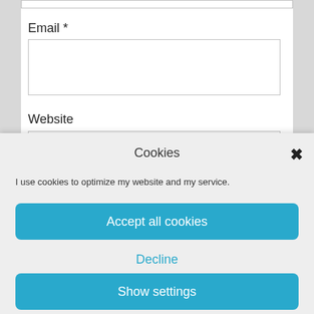Email *
Website
Cookies
I use cookies to optimize my website and my service.
Accept all cookies
Decline
Show settings